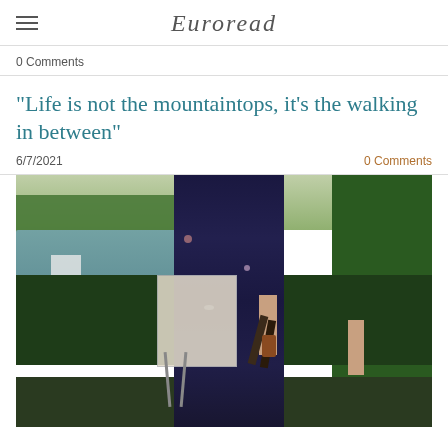Euroread
0 Comments
"Life is not the mountaintops, it's the walking in between"
6/7/2021  0 Comments
[Figure (photo): An artist wearing paint-splattered navy clothing, holding brushes and a paint bottle, standing outdoors near an easel with a canvas, with a scenic lake and green trees visible in the background.]